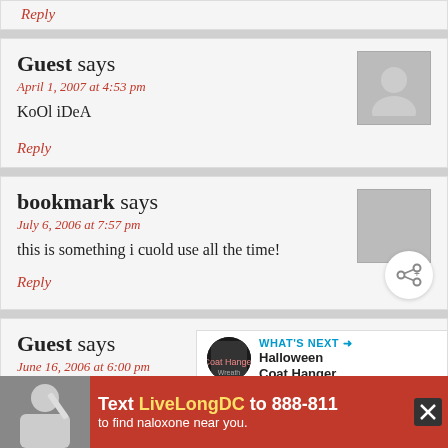Reply
Guest says
April 1, 2007 at 4:53 pm
KoOl iDeA
Reply
bookmark says
July 6, 2006 at 7:57 pm
this is something i cuold use all the time!
Reply
Guest says
June 16, 2006 at 6:00 pm
[Figure (infographic): WHAT'S NEXT → Halloween Coat Hanger... overlay with thumbnail image]
[Figure (infographic): Ad banner: Text LiveLongDC to 888-811 to find naloxone near you. Red background with person holding syringe.]